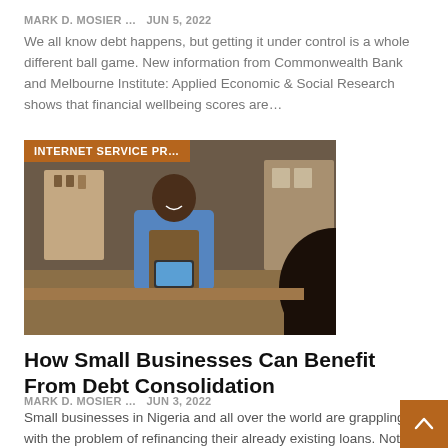MARK D. MOSIER ...   Jun 5, 2022
We all know debt happens, but getting it under control is a whole different ball game. New information from Commonwealth Bank and Melbourne Institute: Applied Economic & Social Research shows that financial wellbeing scores are...
[Figure (photo): Photo of a smiling man in a blue plaid shirt and brown apron standing behind a counter in a café or small business setting, holding a tablet. A customer is visible in the foreground with their back to the camera. An orange banner at the top reads 'INTERNET SERVICE PR...']
How Small Businesses Can Benefit From Debt Consolidation
MARK D. MOSIER ...   Jun 3, 2022
Small businesses in Nigeria and all over the world are grappling with the problem of refinancing their already existing loans. Not only that, in tough business environments like Nigeria, many small businesses have had to take out...